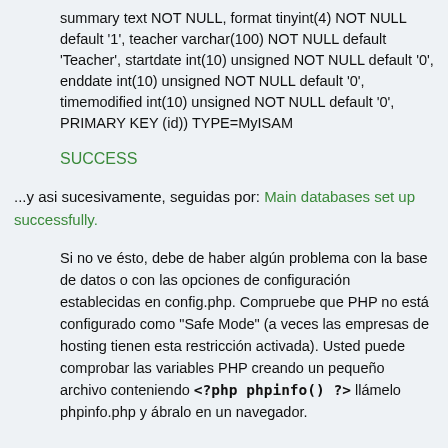summary text NOT NULL, format tinyint(4) NOT NULL default '1', teacher varchar(100) NOT NULL default 'Teacher', startdate int(10) unsigned NOT NULL default '0', enddate int(10) unsigned NOT NULL default '0', timemodified int(10) unsigned NOT NULL default '0', PRIMARY KEY (id)) TYPE=MyISAM
SUCCESS
...y asi sucesivamente, seguidas por: Main databases set up successfully.
Si no ve ésto, debe de haber algún problema con la base de datos o con las opciones de configuración establecidas en config.php. Compruebe que PHP no está configurado como "Safe Mode" (a veces las empresas de hosting tienen esta restricción activada). Usted puede comprobar las variables PHP creando un pequeño archivo conteniendo <?php phpinfo() ?> llámelo phpinfo.php y ábralo en un navegador.